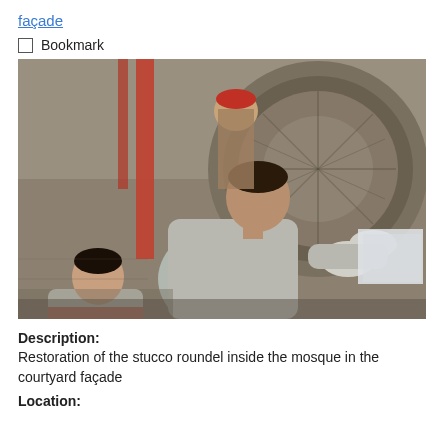façade
Bookmark
[Figure (photo): Workers restoring a stucco roundel inside a mosque courtyard façade. A man in the foreground wearing white gloves works on the ornate carved stonework. Another worker in the background also participates in the restoration.]
Description: Restoration of the stucco roundel inside the mosque in the courtyard façade
Location: